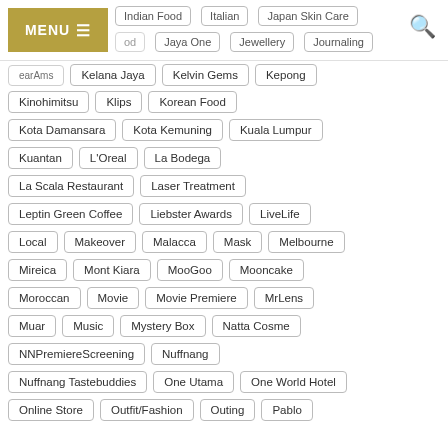[Figure (screenshot): Website navigation menu with MENU button and search icon]
Indian Food
Italian
Japan Skin Care
Jaya One
Jewellery
Journaling
Kelana Jaya
Kelvin Gems
Kepong
Kinohimitsu
Klips
Korean Food
Kota Damansara
Kota Kemuning
Kuala Lumpur
Kuantan
L'Oreal
La Bodega
La Scala Restaurant
Laser Treatment
Leptin Green Coffee
Liebster Awards
LiveLife
Local
Makeover
Malacca
Mask
Melbourne
Mireica
Mont Kiara
MooGoo
Mooncake
Moroccan
Movie
Movie Premiere
MrLens
Muar
Music
Mystery Box
Natta Cosme
NNPremiereScreening
Nuffnang
Nuffnang Tastebuddies
One Utama
One World Hotel
Online Store
Outfit/Fashion
Outing
Pablo